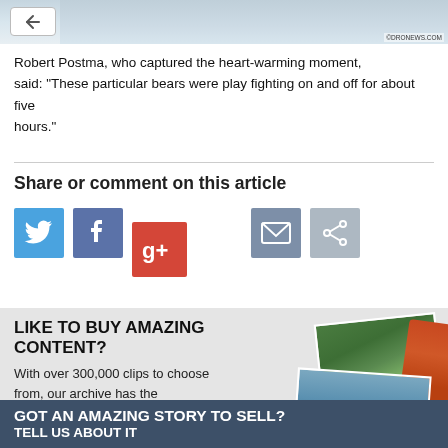[Figure (photo): Top strip showing snowy outdoor photograph with back navigation button and watermark]
Robert Postma, who captured the heart-warming moment, said: "These particular bears were play fighting on and off for about five hours."
Share or comment on this article
[Figure (infographic): Social sharing icons: Twitter (blue bird), Facebook (blue f), Google+ (red g+), Email (grey envelope), Share (grey arrows)]
[Figure (infographic): Advertisement banner: LIKE TO BUY AMAZING CONTENT? With over 300,000 clips to choose from, our archive has the photograph you're looking for. CLICK HERE for more information. With two overlapping photos on the right side.]
GOT AN AMAZING STORY TO SELL? TELL US ABOUT IT